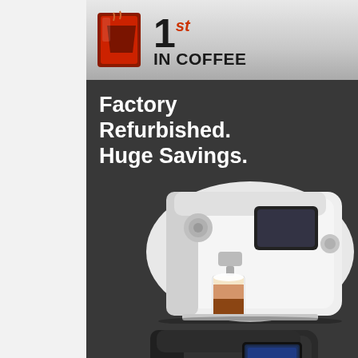[Figure (logo): 1st In Coffee logo with red coffee cup icon and stylized text]
Factory Refurbished. Huge Savings.
[Figure (photo): White/silver Jura automatic espresso machine with a latte macchiato]
[Figure (photo): Dark Jura automatic espresso machine with two espresso cups]
[Figure (photo): Silver Jura automatic espresso machine, partially visible]